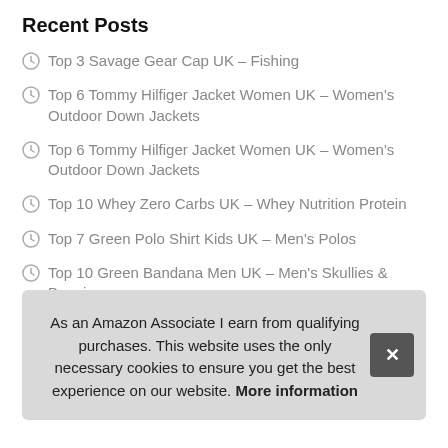Recent Posts
Top 3 Savage Gear Cap UK – Fishing
Top 6 Tommy Hilfiger Jacket Women UK – Women's Outdoor Down Jackets
Top 6 Tommy Hilfiger Jacket Women UK – Women's Outdoor Down Jackets
Top 10 Whey Zero Carbs UK – Whey Nutrition Protein
Top 7 Green Polo Shirt Kids UK – Men's Polos
Top 10 Green Bandana Men UK – Men's Skullies & Beanies
Top 10 Puzzle Mat Baby UK – Puzzle Play Mats
T…
As an Amazon Associate I earn from qualifying purchases. This website uses the only necessary cookies to ensure you get the best experience on our website. More information